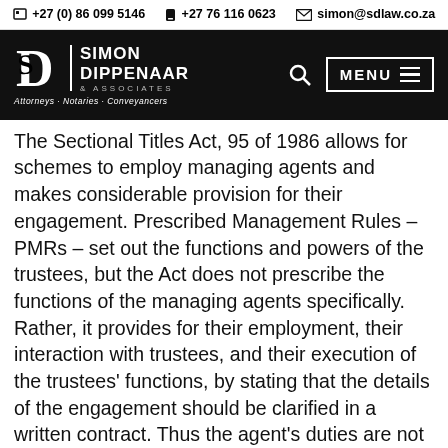+27 (0) 86 099 5146   +27 76 116 0623   simon@sdlaw.co.za
[Figure (logo): Simon Dippenaar & Associates law firm logo — white logo on black background with tagline Attorneys · Notaries · Conveyancers and navigation menu button]
The Sectional Titles Act, 95 of 1986 allows for schemes to employ managing agents and makes considerable provision for their engagement. Prescribed Management Rules – PMRs – set out the functions and powers of the trustees, but the Act does not prescribe the functions of the managing agents specifically. Rather, it provides for their employment, their interaction with trustees, and their execution of the trustees' functions, by stating that the details of the engagement should be clarified in a written contract. Thus the agent's duties are not enshrined in the legislation but in the